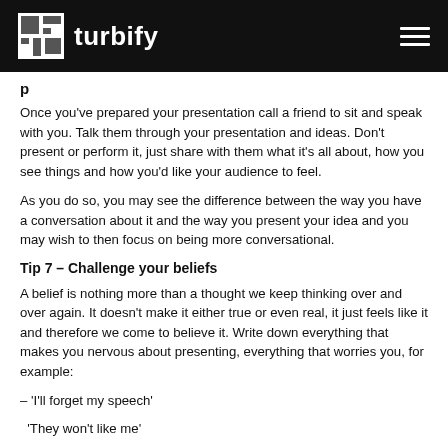turbify
Once you've prepared your presentation call a friend to sit and speak with you. Talk them through your presentation and ideas. Don't present or perform it, just share with them what it's all about, how you see things and how you'd like your audience to feel.
As you do so, you may see the difference between the way you have a conversation about it and the way you present your idea and you may wish to then focus on being more conversational.
Tip 7 – Challenge your beliefs
A belief is nothing more than a thought we keep thinking over and over again. It doesn't make it either true or even real, it just feels like it and therefore we come to believe it. Write down everything that makes you nervous about presenting, everything that worries you, for example:
– 'I'll forget my speech'
– 'They won't like me'